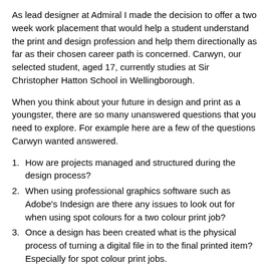As lead designer at Admiral I made the decision to offer a two week work placement that would help a student understand the print and design profession and help them directionally as far as their chosen career path is concerned. Carwyn, our selected student, aged 17, currently studies at Sir Christopher Hatton School in Wellingborough.
When you think about your future in design and print as a youngster, there are so many unanswered questions that you need to explore. For example here are a few of the questions Carwyn wanted answered.
How are projects managed and structured during the design process?
When using professional graphics software such as Adobe's Indesign are there any issues to look out for when using spot colours for a two colour print job?
Once a design has been created what is the physical process of turning a digital file in to the final printed item? Especially for spot colour print jobs.
How are print jobs set-up for special finishes such as spot UV or die cutting?
During the two weeks at Admiral, Carwyn showed plenty of